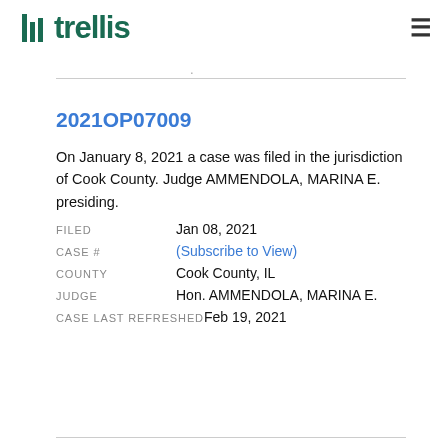trellis
.
2021OP07009
On January 8, 2021 a case was filed in the jurisdiction of Cook County. Judge AMMENDOLA, MARINA E. presiding.
| Field | Value |
| --- | --- |
| FILED | Jan 08, 2021 |
| CASE # | (Subscribe to View) |
| COUNTY | Cook County, IL |
| JUDGE | Hon. AMMENDOLA, MARINA E. |
| CASE LAST REFRESHED | Feb 19, 2021 |